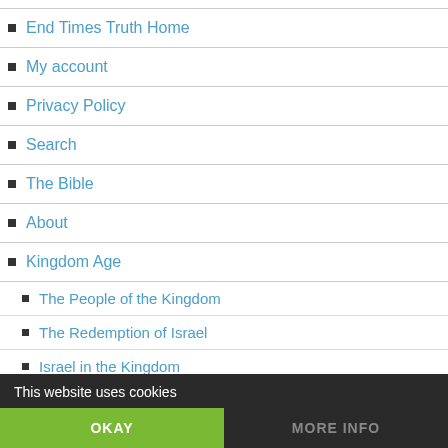End Times Truth Home
My account
Privacy Policy
Search
The Bible
About
Kingdom Age
The People of the Kingdom
The Redemption of Israel
Israel in the Kingdom
This website uses cookies
OKAY
MORE INFO